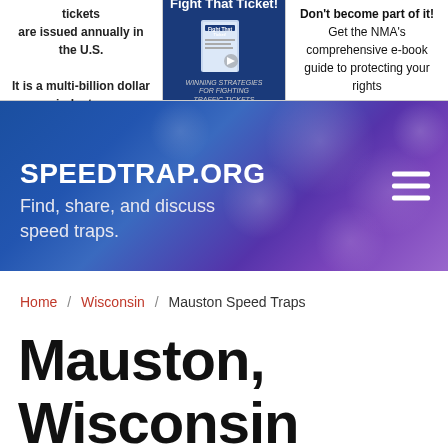[Figure (infographic): Ad banner with three sections: left section with text '25 - 50 million traffic tickets are issued annually in the U.S. It is a multi-billion dollar industry.', center section with book cover 'Fight That Ticket! Winning Strategies for Fighting Traffic Tickets', right section with text 'Don't become part of it! Get the NMA's comprehensive e-book guide to protecting your rights']
[Figure (infographic): Hero banner with blue/purple bokeh background showing SPEEDTRAP.ORG logo and tagline 'Find, share, and discuss speed traps.' with hamburger menu icon]
Home / Wisconsin / Mauston Speed Traps
Mauston, Wisconsin Speed Traps